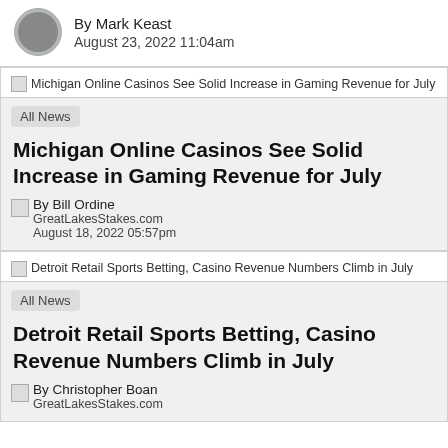By Mark Keast
August 23, 2022 11:04am
[Figure (other): Thumbnail image for Michigan Online Casinos See Solid Increase in Gaming Revenue for July article]
All News
Michigan Online Casinos See Solid Increase in Gaming Revenue for July
By Bill Ordine
GreatLakesStakes.com
August 18, 2022 05:57pm
[Figure (other): Thumbnail image for Detroit Retail Sports Betting, Casino Revenue Numbers Climb in July article]
All News
Detroit Retail Sports Betting, Casino Revenue Numbers Climb in July
By Christopher Boan
GreatLakesStakes.com